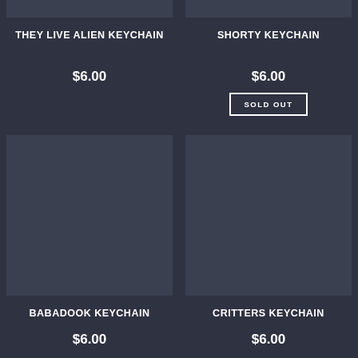[Figure (photo): Partial product image stub for THEY LIVE ALIEN KEYCHAIN (cropped at top)]
THEY LIVE ALIEN KEYCHAIN
$6.00
[Figure (photo): Partial product image stub for SHORTY KEYCHAIN (cropped at top)]
SHORTY KEYCHAIN
$6.00
SOLD OUT
[Figure (photo): Product image placeholder for BABADOOK KEYCHAIN]
BABADOOK KEYCHAIN
$6.00
[Figure (photo): Product image placeholder for CRITTERS KEYCHAIN]
CRITTERS KEYCHAIN
$6.00